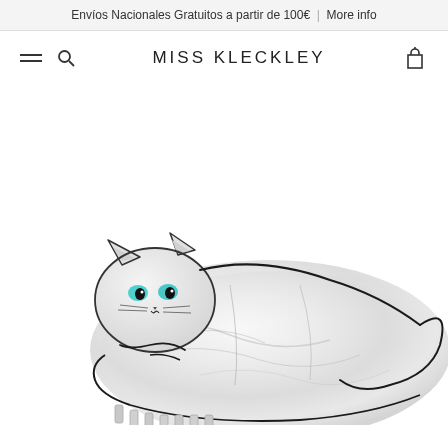Envíos Nacionales Gratuitos a partir de 100€  |  More info
MISS KLECKLEY
[Figure (photo): A white pearlescent cat-shaped hair claw clip lying on a white background. The clip is shaped like a curled-up cat with black outline details, turquoise/teal eyes, and decorative marbled white acetate material. The teeth of the clip are visible at the bottom.]